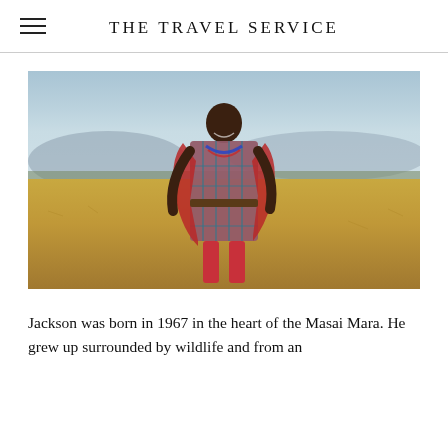THE TRAVEL SERVICE
[Figure (photo): A Maasai man wearing traditional red and teal plaid clothing with a red shuka (wrap), colorful beaded necklace, and leather belt, smiling and walking across the golden grasslands of the Masai Mara, with mountains visible in the background under a blue sky.]
Jackson was born in 1967 in the heart of the Masai Mara. He grew up surrounded by wildlife and from an